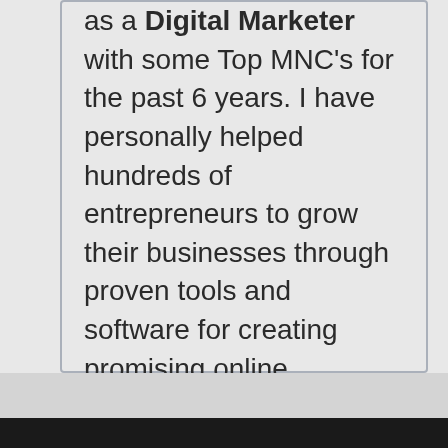as a Digital Marketer with some Top MNC's for the past 6 years. I have personally helped hundreds of entrepreneurs to grow their businesses through proven tools and software for creating promising online business strategies. Learning how different Online marketing tools work, will help entrepreneurs make their own decisions on purchasing them.